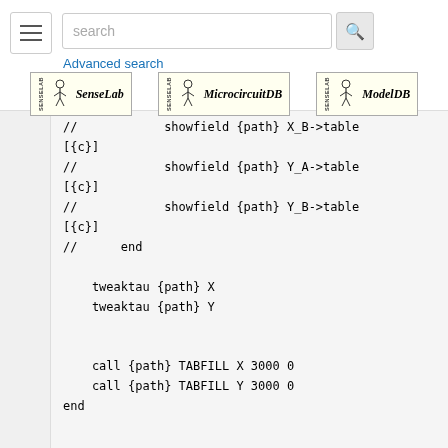[Figure (screenshot): Search bar with hamburger menu, search input field, magnifying glass button, and Advanced search link]
[Figure (logo): Three logos: SenseLab, MicrocircuitDB, ModelDB]
//            showfield {path} X_B->table
[{c}]
//            showfield {path} Y_A->table
[{c}]
//            showfield {path} Y_B->table
[{c}]
//      end

    tweaktau {path} X
    tweaktau {path} Y


    call {path} TABFILL X 3000 0
    call {path} TABFILL Y 3000 0
end